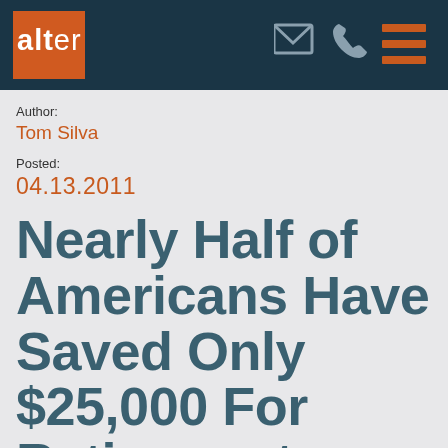alter
Author:
Tom Silva
Posted:
04.13.2011
Nearly Half of Americans Have Saved Only $25,000 For Retirement